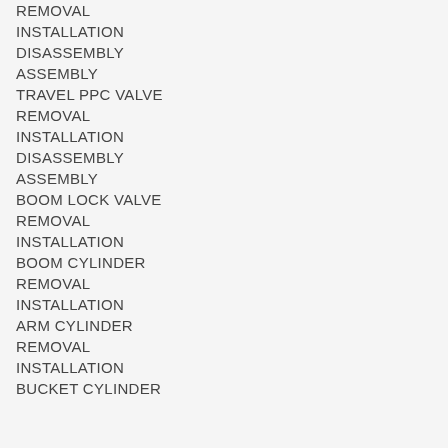REMOVAL
INSTALLATION
DISASSEMBLY
ASSEMBLY
TRAVEL PPC VALVE
REMOVAL
INSTALLATION
DISASSEMBLY
ASSEMBLY
BOOM LOCK VALVE
REMOVAL
INSTALLATION
BOOM CYLINDER
REMOVAL
INSTALLATION
ARM CYLINDER
REMOVAL
INSTALLATION
BUCKET CYLINDER